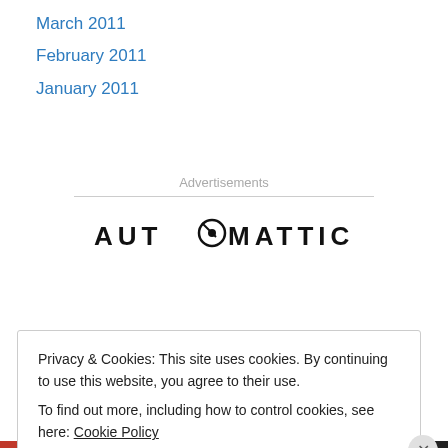March 2011
February 2011
January 2011
Advertisements
[Figure (logo): Automattic logo — wordmark in uppercase bold letters with a stylized compass/O icon in place of the letter O]
Build a
Privacy & Cookies: This site uses cookies. By continuing to use this website, you agree to their use.
To find out more, including how to control cookies, see here: Cookie Policy
Close and accept